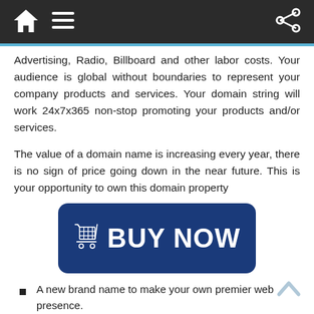Navigation bar with home, menu, and share icons
Advertising, Radio, Billboard and other labor costs. Your audience is global without boundaries to represent your company products and services. Your domain string will work 24x7x365 non-stop promoting your products and/or services.
The value of a domain name is increasing every year, there is no sign of price going down in the near future. This is your opportunity to own this domain property
[Figure (illustration): Blue rounded rectangle button with shopping cart icon and BUY NOW text in white bold font]
A new brand name to make your own premier web presence.
A realtor for an excellent advertising service to list house for sale or for rent. Other professionals e.g.